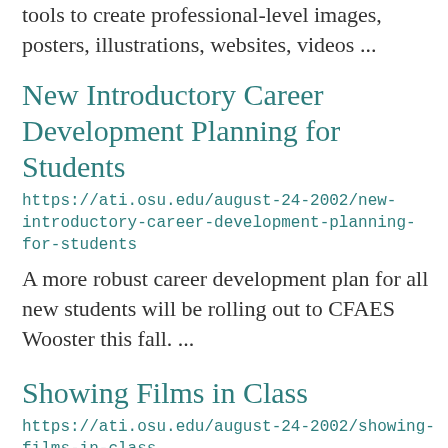tools to create professional-level images, posters, illustrations, websites, videos ...
New Introductory Career Development Planning for Students
https://ati.osu.edu/august-24-2002/new-introductory-career-development-planning-for-students
A more robust career development plan for all new students will be rolling out to CFAES Wooster this fall. ...
Showing Films in Class
https://ati.osu.edu/august-24-2002/showing-films-in-class
D...